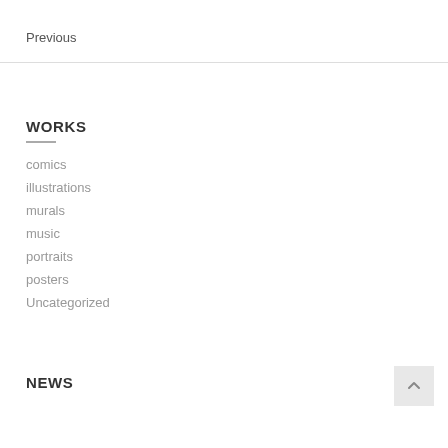Previous
WORKS
comics
illustrations
murals
music
portraits
posters
Uncategorized
NEWS